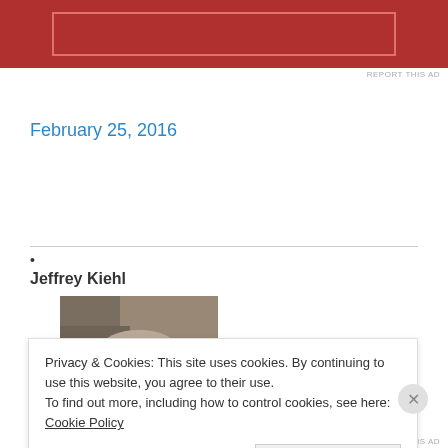[Figure (other): Red advertisement banner at top of page]
REPORT THIS AD
February 25, 2016
•
Jeffrey Kiehl
[Figure (photo): Headshot of Jeffrey Kiehl, a middle-aged man with graying hair, wearing a blue shirt, photographed outdoors against a rocky background]
Privacy & Cookies: This site uses cookies. By continuing to use this website, you agree to their use.
To find out more, including how to control cookies, see here: Cookie Policy
Close and accept
REPORT THIS AD